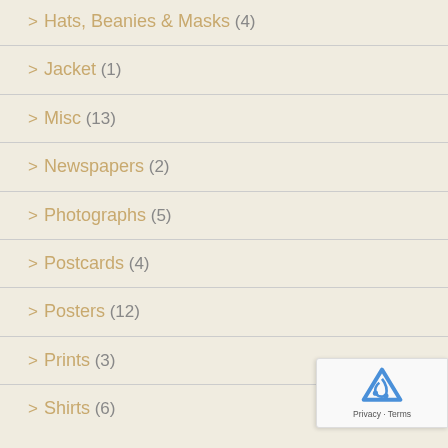> Hats, Beanies & Masks (4)
> Jacket (1)
> Misc (13)
> Newspapers (2)
> Photographs (5)
> Postcards (4)
> Posters (12)
> Prints (3)
> Shirts (6)